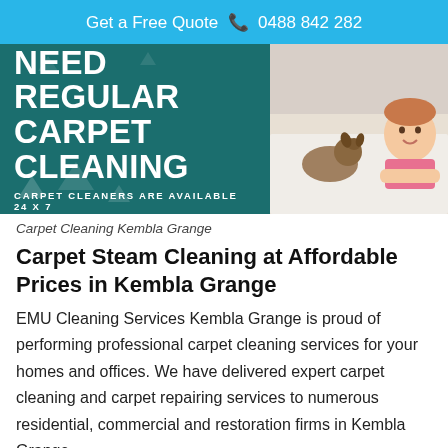Get a Free Quote ☎ 0488 842 282
[Figure (photo): Carpet cleaning banner with teal background showing NEED REGULAR CARPET CLEANING text and photo of a child and dog on carpet]
Carpet Cleaning Kembla Grange
Carpet Steam Cleaning at Affordable Prices in Kembla Grange
EMU Cleaning Services Kembla Grange is proud of performing professional carpet cleaning services for your homes and offices. We have delivered expert carpet cleaning and carpet repairing services to numerous residential, commercial and restoration firms in Kembla Grange.
The carpet in your home or office acts like a filter. Just like any other filter, it’s important to ensure that you